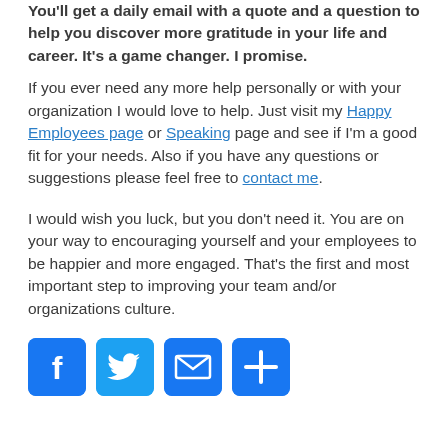You'll also be receiving the 30-Day gratitude course. You'll get a daily email with a quote and a question to help you discover more gratitude in your life and career. It's a game changer. I promise.
If you ever need any more help personally or with your organization I would love to help. Just visit my Happy Employees page or Speaking page and see if I'm a good fit for your needs. Also if you have any questions or suggestions please feel free to contact me.
I would wish you luck, but you don't need it. You are on your way to encouraging yourself and your employees to be happier and more engaged. That's the first and most important step to improving your team and/or organizations culture.
[Figure (infographic): Four social sharing icon buttons: Facebook (blue f), Twitter (blue bird), Email (blue envelope), Share (blue plus sign)]